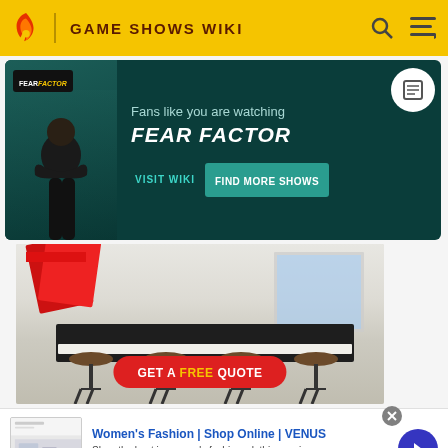GAME SHOWS WIKI
[Figure (other): Fear Factor promotional banner with dark teal background, person with crossed arms, Fear Factor logo, tagline 'Fans like you are watching FEAR FACTOR', VISIT WIKI and FIND MORE SHOWS buttons]
[Figure (photo): Kitchen advertisement showing a modern white kitchen with island, four bar stools, red ribbon decoration, and a red CTA button 'GET A FREE QUOTE']
[Figure (other): Women's Fashion | Shop Online | VENUS advertisement. Shop the best in women's fashion, clothing, swimwear. venus.com]